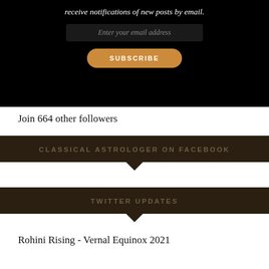[Figure (screenshot): Black background subscription box with italic white text at top (partially visible), an email input field with placeholder 'Enter your email address', and an orange rounded SUBSCRIBE button]
Join 664 other followers
CLASSICAL ASTROLOGER ON FACEBOOK
TWITTER UPDATES
Rohini Rising - Vernal Equinox 2021